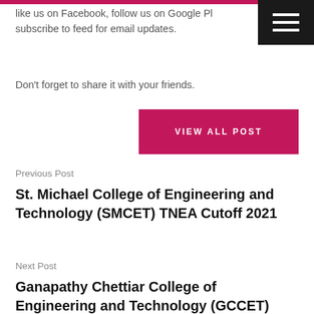like us on Facebook, follow us on Google Pl… subscribe to feed for email updates.
Don't forget to share it with your friends.
VIEW ALL POST
Previous Post
St. Michael College of Engineering and Technology (SMCET) TNEA Cutoff 2021
Next Post
Ganapathy Chettiar College of Engineering and Technology (GCCET)